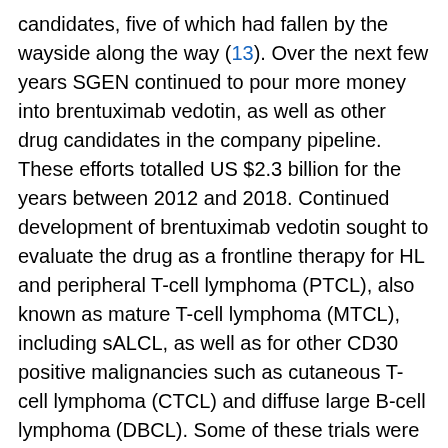candidates, five of which had fallen by the wayside along the way (13). Over the next few years SGEN continued to pour more money into brentuximab vedotin, as well as other drug candidates in the company pipeline. These efforts totalled US $2.3 billion for the years between 2012 and 2018. Continued development of brentuximab vedotin sought to evaluate the drug as a frontline therapy for HL and peripheral T-cell lymphoma (PTCL), also known as mature T-cell lymphoma (MTCL), including sALCL, as well as for other CD30 positive malignancies such as cutaneous T-cell lymphoma (CTCL) and diffuse large B-cell lymphoma (DBCL). Some of these trials were directed towards examining the drug in combination with other chemotherapies.
While SGEN received two labels for post-transplant HL and for cutaneous T-cell lymphoma, the focus was on frontline HL and PTCL. The first milestone was reached in March